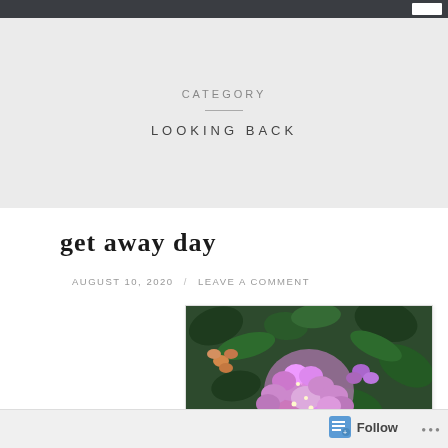CATEGORY / LOOKING BACK
get away day
AUGUST 10, 2020 / LEAVE A COMMENT
[Figure (photo): Close-up photo of purple/pink lantana flowers with dark green leaves in the background]
Follow